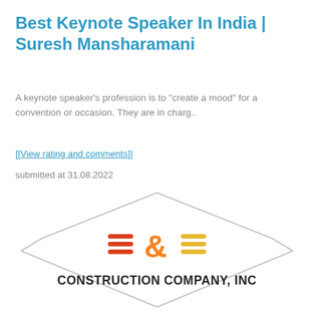Best Keynote Speaker In India | Suresh Mansharamani
A keynote speaker's profession is to "create a mood" for a convention or occasion. They are in charg..
[[View rating and comments]]
submitted at 31.08.2022
[Figure (logo): E&E Construction Company, Inc logo inside a hexagon outline shape]